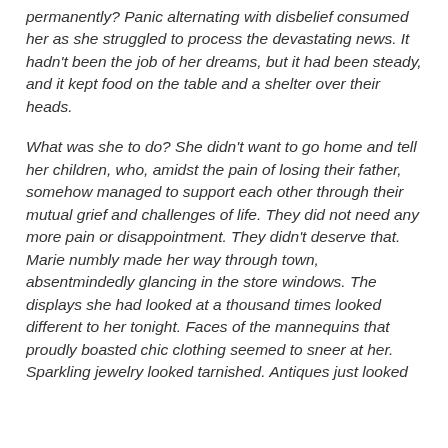permanently? Panic alternating with disbelief consumed her as she struggled to process the devastating news. It hadn't been the job of her dreams, but it had been steady, and it kept food on the table and a shelter over their heads.

What was she to do? She didn't want to go home and tell her children, who, amidst the pain of losing their father, somehow managed to support each other through their mutual grief and challenges of life. They did not need any more pain or disappointment. They didn't deserve that. Marie numbly made her way through town, absentmindedly glancing in the store windows. The displays she had looked at a thousand times looked different to her tonight. Faces of the mannequins that proudly boasted chic clothing seemed to sneer at her. Sparkling jewelry looked tarnished. Antiques just looked